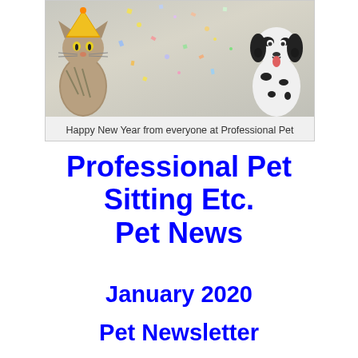[Figure (photo): A cat wearing a party hat on the left and a Dalmatian dog on the right, with confetti in the background, celebrating New Year]
Happy New Year from everyone at Professional Pet Sitting Etc
Professional Pet Sitting Etc. Pet News
January 2020
Pet Newsletter